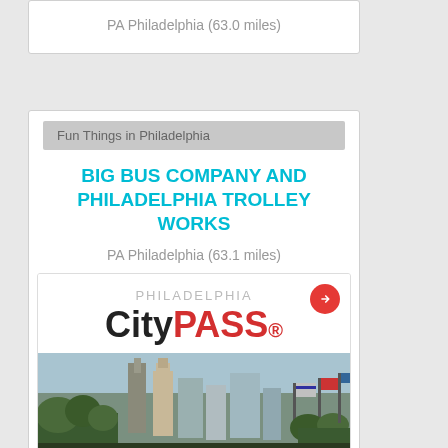PA Philadelphia (63.0 miles)
Fun Things in Philadelphia
BIG BUS COMPANY AND PHILADELPHIA TROLLEY WORKS
PA Philadelphia (63.1 miles)
[Figure (infographic): Philadelphia CityPASS advertisement showing logo, city skyline photo, and text 'SAVE 44% OR MORE 4 TOP ATTRACTIONS']